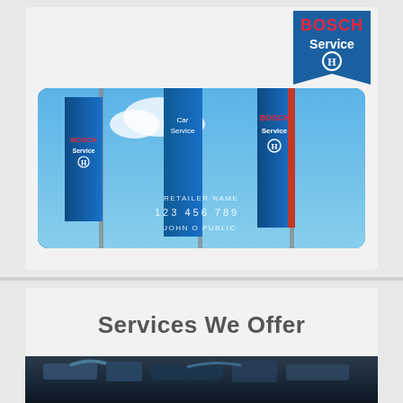[Figure (logo): Bosch Service logo — red BOSCH text, blue shield with white circle and H icon]
[Figure (photo): Photo of a Bosch Car Service loyalty/credit card overlaid on blue banners/flags with Bosch Service branding. Card shows: Car Service, RETAILER NAME, 123 456 789, JOHN O PUBLIC]
Services We Offer
[Figure (photo): Close-up photo of a car engine, dark tones, showing engine components]